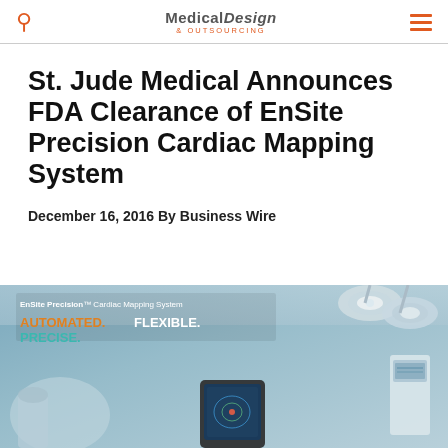Medical Design & Outsourcing
St. Jude Medical Announces FDA Clearance of EnSite Precision Cardiac Mapping System
December 16, 2016 By Business Wire
[Figure (photo): EnSite Precision Cardiac Mapping System photo with text overlay: 'EnSite Precision™ Cardiac Mapping System — AUTOMATED. FLEXIBLE. PRECISE.' showing an operating room with medical equipment and overhead lights.]